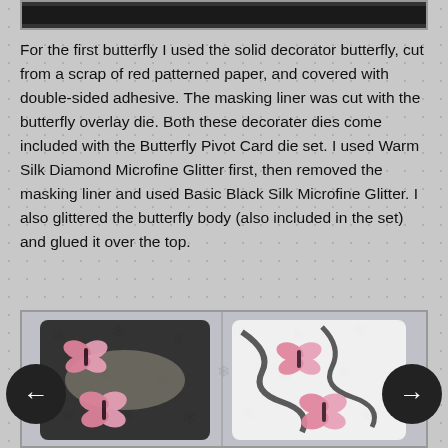[Figure (photo): Top partial image strip, dark/black image at top of page]
For the first butterfly I used the solid decorator butterfly, cut from a scrap of red patterned paper, and covered with double-sided adhesive. The masking liner was cut with the butterfly overlay die. Both these decorater dies come included with the Butterfly Pivot Card die set. I used Warm Silk Diamond Microfine Glitter first, then removed the masking liner and used Basic Black Silk Microfine Glitter. I also glittered the butterfly body (also included in the set) and glued it over the top.
[Figure (photo): Photo of black and white patterned shoes/sneakers with pink glittered butterfly decorations applied, shown side by side against a snowflake-patterned background]